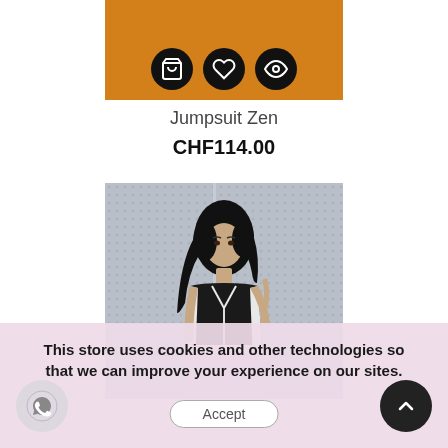[Figure (screenshot): Product image with orange background showing shopping cart, heart, and eye icons on dark circular buttons]
Jumpsuit Zen
CHF114.00
[Figure (photo): Woman wearing black and white jumpsuit standing against a textured grey wall]
This store uses cookies and other technologies so that we can improve your experience on our sites.
Accept